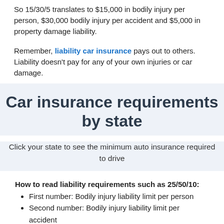So 15/30/5 translates to $15,000 in bodily injury per person, $30,000 bodily injury per accident and $5,000 in property damage liability.
Remember, liability car insurance pays out to others. Liability doesn't pay for any of your own injuries or car damage.
Car insurance requirements by state
Click your state to see the minimum auto insurance required to drive
How to read liability requirements such as 25/50/10:
First number: Bodily injury liability limit per person
Second number: Bodily injury liability limit per accident
Third number: Property damage liability limit
UM/UIM = uninsured/underinsured motorist coverage